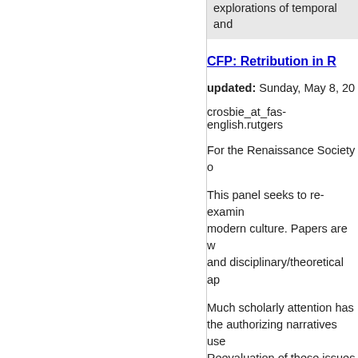explorations of temporal and
CFP: Retribution in R
updated: Sunday, May 8, 20
crosbie_at_fas-english.rutgers
For the Renaissance Society o
This panel seeks to re-examin modern culture. Papers are w and disciplinary/theoretical ap
Much scholarly attention has the authorizing narratives use Reevaluation of these issues i to open the field of inquiry ev
Topics for consideration may i